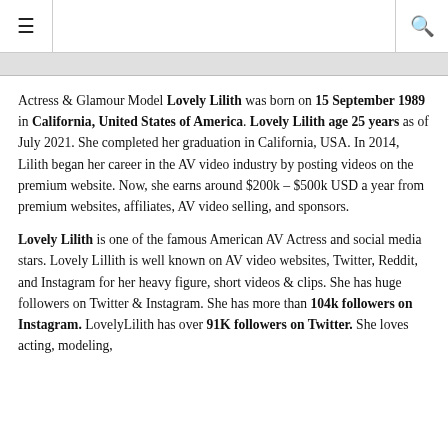≡  [search icon]
Actress & Glamour Model Lovely Lilith was born on 15 September 1989 in California, United States of America. Lovely Lilith age 25 years as of July 2021. She completed her graduation in California, USA. In 2014, Lilith began her career in the AV video industry by posting videos on the premium website. Now, she earns around $200k – $500k USD a year from premium websites, affiliates, AV video selling, and sponsors.
Lovely Lilith is one of the famous American AV Actress and social media stars. Lovely Lillith is well known on AV video websites, Twitter, Reddit, and Instagram for her heavy figure, short videos & clips. She has huge followers on Twitter & Instagram. She has more than 104k followers on Instagram. LovelyLilith has over 91K followers on Twitter. She loves acting, modeling,